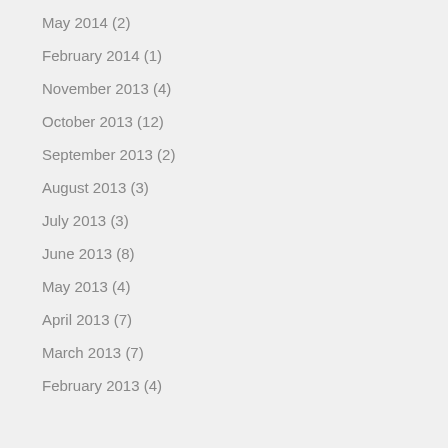June 2014 (1)
May 2014 (2)
February 2014 (1)
November 2013 (4)
October 2013 (12)
September 2013 (2)
August 2013 (3)
July 2013 (3)
June 2013 (8)
May 2013 (4)
April 2013 (7)
March 2013 (7)
February 2013 (4)